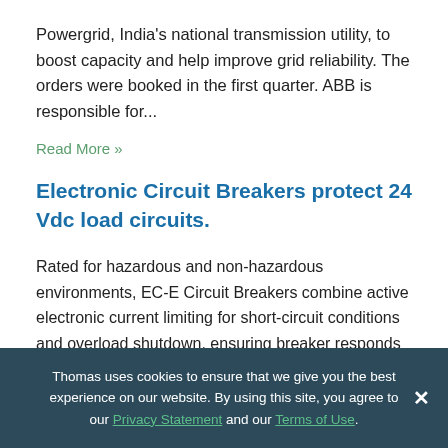Powergrid, India's national transmission utility, to boost capacity and help improve grid reliability. The orders were booked in the first quarter. ABB is responsible for...
Read More »
Electronic Circuit Breakers protect 24 Vdc load circuits.
Rated for hazardous and non-hazardous environments, EC-E Circuit Breakers combine active electronic current limiting for short-circuit conditions and overload shutdown, ensuring breaker responds to fault conditions faster than power supply. Units have current limitation of 1.3-1.8 times rated current of circuit protector. Rated for current ranges from 0.5-12 A, series includes EC-E1 with
Thomas uses cookies to ensure that we give you the best experience on our website. By using this site, you agree to our Privacy Statement and our Terms of Use.